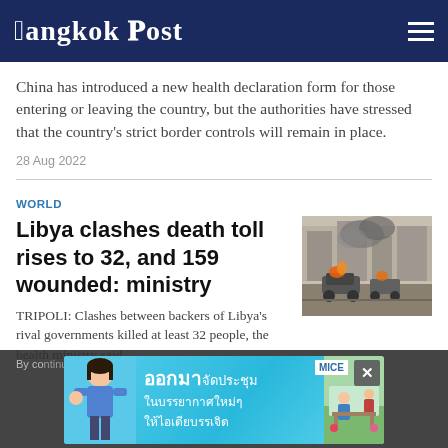Bangkok Post
China has introduced a new health declaration form for those entering or leaving the country, but the authorities have stressed that the country's strict border controls will remain in place.
28 Aug 2022
WORLD
Libya clashes death toll rises to 32, and 159 wounded: ministry
[Figure (photo): Burning vehicles on a street in Tripoli, Libya, with smoke rising]
TRIPOLI: Clashes between backers of Libya's rival governments killed at least 32 people, the health ministry said
[Figure (advertisement): Thai language advertisement banner for MICE meeting venue services with woman in blue shirt]